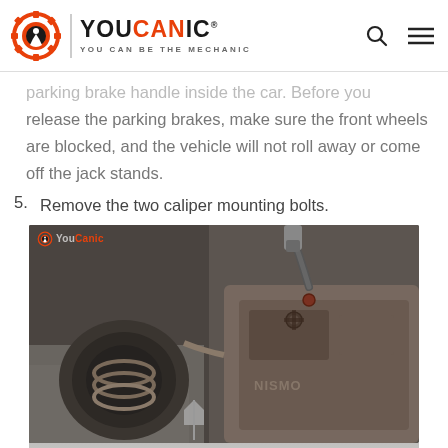[Figure (logo): YOUCANIC logo with gear/wrench icon and tagline YOU CAN BE THE MECHANIC]
parking brake handle inside the car. Before you release the parking brakes, make sure the front wheels are blocked, and the vehicle will not roll away or come off the jack stands.
5. Remove the two caliper mounting bolts.
[Figure (photo): Close-up photo of brake caliper mounting area showing mechanical components including spring and caliper hardware on a vehicle. YOUCANIC watermark visible.]